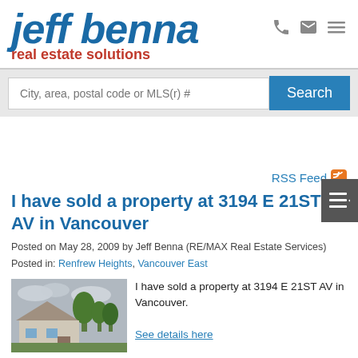jeff benna real estate solutions
City, area, postal code or MLS(r) # Search
RSS Feed
I have sold a property at 3194 E 21ST AV in Vancouver
Posted on May 28, 2009 by Jeff Benna (RE/MAX Real Estate Services)
Posted in: Renfrew Heights, Vancouver East
[Figure (photo): Photo of a house with trees in the background, cloudy sky]
I have sold a property at 3194 E 21ST AV in Vancouver.
See details here